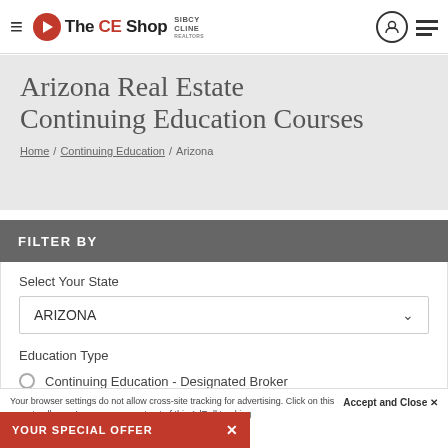The CE Shop | Sibcy Cline Realtors - Navigation header
Arizona Real Estate Continuing Education Courses
Home / Continuing Education / Arizona
FILTER BY
Select Your State
ARIZONA
Education Type
Continuing Education - Designated Broker
Continuing Education - Sales License
Accept and Close ✕
Your browser settings do not allow cross-site tracking for advertising. Click on this page to allow u. Learn more or opt out of this AdRoll tracking
YOUR SPECIAL OFFER ✕